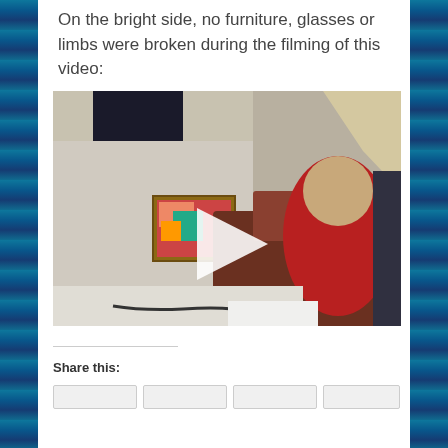On the bright side, no furniture, glasses or limbs were broken during the filming of this video:
[Figure (screenshot): Video thumbnail showing a tilted indoor room scene with a person in red clothing and a framed picture on the wall. A large white play button triangle is overlaid in the center.]
Share this: